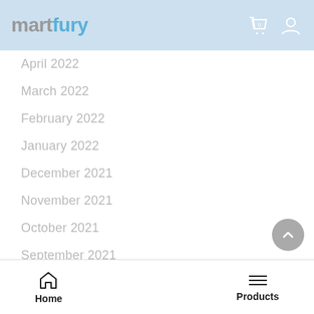martfury
April 2022
March 2022
February 2022
January 2022
December 2021
November 2021
October 2021
September 2021
August 2021
July 2021
Home  Products